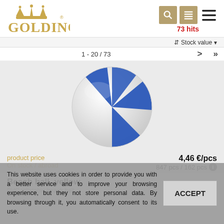[Figure (logo): Goldino crown logo in gold/brown color]
73 hits
1 - 20 / 73
[Figure (photo): Blue and white inflatable beach ball on light gray background]
product price
4,46 €/pcs
On stock / abroad
847 pcs / 162 pcs
Beach ball, yellow
PVC inflatable beach ball.
This website uses cookies in order to provide you with a better service and to improve your browsing experience, but they not store personal data. By browsing through it, you automatically consent to its use.
ACCEPT